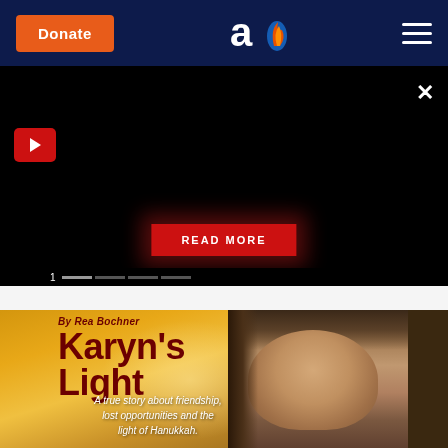Donate | [Aish.com logo] | Navigation menu
[Figure (screenshot): Black promo/video banner area with red play button on left, close X button on top right, and a red READ MORE button centered near bottom with dark red glow]
[Figure (illustration): Book cover image for 'Karyn's Light' by Rea Bochner. Warm golden/amber background with a young girl's face on the right side. Dark red title text reads 'Karyn's Light'. Italic subtitle: 'A true story about friendship, lost opportunities and the light of Hanukkah.']